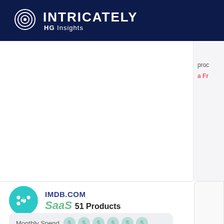INTRICATELY HG Insights
prod
a Fr
IMDB.COM
SaaS 51 Products
Monthly Spend
See how much IMDb.com spends on Saas, the products they use, and the applications they operate.